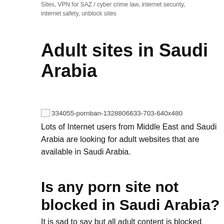Sites, VPN for SAZ / cyber crime law, internet security, internet safety, unblock sites
Adult sites in Saudi Arabia
[Figure (other): Broken image placeholder with filename 334055-pornban-1328806633-703-640x480]
Lots of Internet users from Middle East and Saudi Arabia are looking for adult websites that are available in Saudi Arabia.
Is any porn site not blocked in Saudi Arabia?
It is sad to say but all adult content is blocked